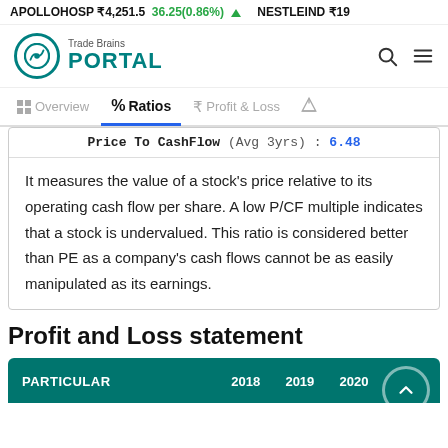APOLLOHOSP ₹4,251.5  36.25(0.86%) ▲   NESTLEIND ₹19
[Figure (logo): Trade Brains Portal logo with teal circular icon and teal PORTAL text]
% Ratios tab selected, with Overview, Profit & Loss, and balance scale tabs also visible
Price To CashFlow (Avg 3yrs) : 6.48
It measures the value of a stock's price relative to its operating cash flow per share. A low P/CF multiple indicates that a stock is undervalued. This ratio is considered better than PE as a company's cash flows cannot be as easily manipulated as its earnings.
Profit and Loss statement
| PARTICULAR | 2018 | 2019 | 2020 | 20… |
| --- | --- | --- | --- | --- |